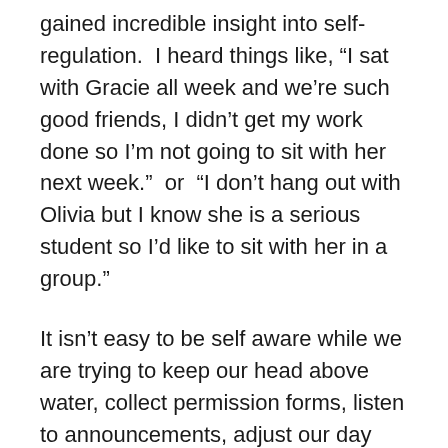gained incredible insight into self-regulation.  I heard things like, “I sat with Gracie all week and we’re such good friends, I didn’t get my work done so I’m not going to sit with her next week.”  or  “I don’t hang out with Olivia but I know she is a serious student so I’d like to sit with her in a group.”
It isn’t easy to be self aware while we are trying to keep our head above water, collect permission forms, listen to announcements, adjust our day plan for the assembly that was announced, deal with a parent that wants to chat in the hallway